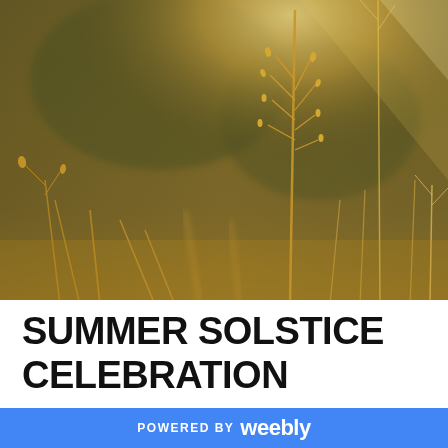[Figure (photo): Close-up photograph of golden dried grass and seed heads backlit by warm sunlight against a blurred olive-brown background]
SUMMER SOLSTICE CELEBRATION
POWERED BY weebly